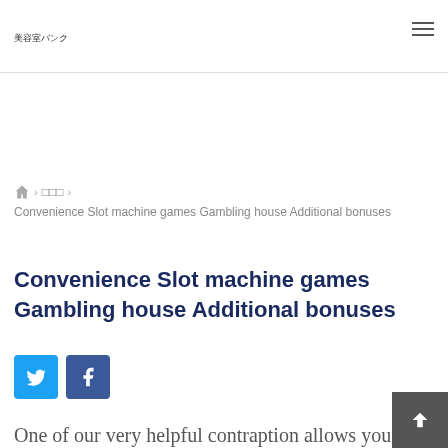美容室バンク
🏠 > □□□ > Convenience Slot machine games Gambling house Additional bonuses
Convenience Slot machine games Gambling house Additional bonuses
[Figure (other): Twitter and Facebook social sharing buttons]
One of our very helpful contraption allows you to pick off each and every hardly any idea and squeeze advantage run with.